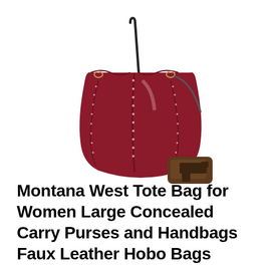[Figure (photo): A dark red/burgundy faux leather hobo tote bag with a single shoulder strap and studded seam detailing, shown with a small brown holster and handgun placed beside it on the bottom right.]
Montana West Tote Bag for Women Large Concealed Carry Purses and Handbags Faux Leather Hobo Bags